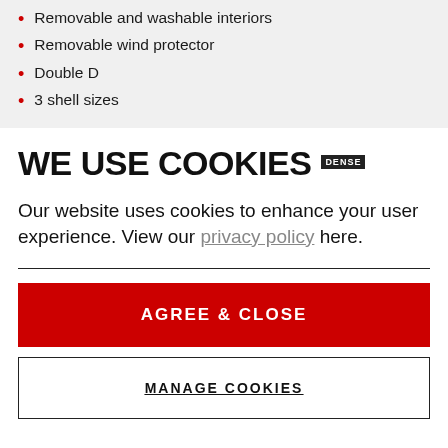Removable and washable interiors
Removable wind protector
Double D
3 shell sizes
WE USE COOKIES
Our website uses cookies to enhance your user experience. View our privacy policy here.
AGREE & CLOSE
MANAGE COOKIES